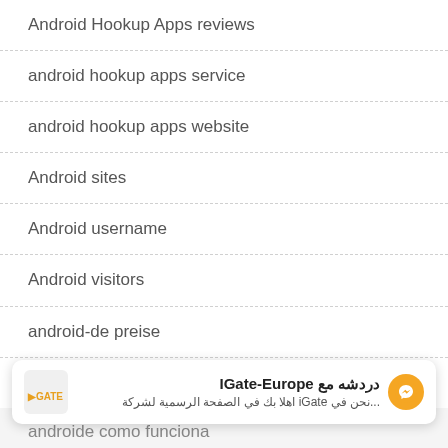Android Hookup Apps reviews
android hookup apps service
android hookup apps website
Android sites
Android username
Android visitors
android-de preise
android-it review
[Figure (infographic): IGate-Europe chat bar with Arabic text: دردشه مع IGate-Europe. Subtitle: ...نحن في iGate اهلا بك في الصفحة الرسمية لشركة. Orange messenger icon on the right.]
androide como funciona